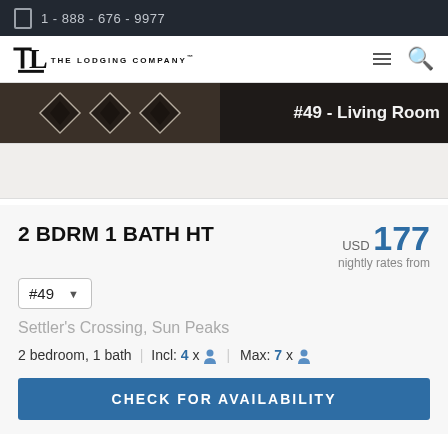1 - 888 - 676 - 9977
[Figure (logo): The Lodging Company logo with TL monogram]
[Figure (photo): Living room interior photo with geometric rug pattern, labeled #49 - Living Room]
2 BDRM 1 BATH HT
USD 177 nightly rates from
#49
Settler's Crossing, Sun Peaks
2 bedroom, 1 bath | Incl: 4 x person | Max: 7 x person
CHECK FOR AVAILABILITY